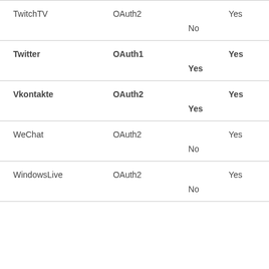| Provider | Protocol | Col3 | Col4 |
| --- | --- | --- | --- |
| TwitchTV | OAuth2 | No | Yes |
| Twitter | OAuth1 | Yes | Yes |
| Vkontakte | OAuth2 | Yes | Yes |
| WeChat | OAuth2 | No | Yes |
| WindowsLive | OAuth2 | No | Yes |